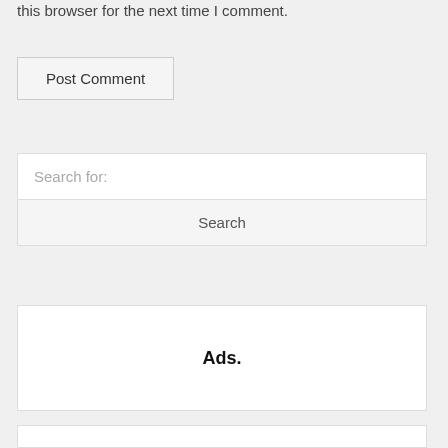this browser for the next time I comment.
[Figure (screenshot): Post Comment button with light gray background and border]
[Figure (screenshot): Search widget with search input field showing placeholder text 'Search for:' and a Search button below]
[Figure (screenshot): Ads. widget box with bold text 'Ads.' centered]
[Figure (screenshot): Partial white box at bottom of page]